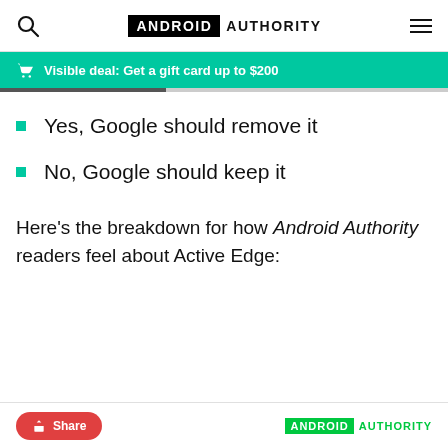ANDROID AUTHORITY
Visible deal: Get a gift card up to $200
Yes, Google should remove it
No, Google should keep it
Here’s the breakdown for how Android Authority readers feel about Active Edge:
Share  ANDROID AUTHORITY